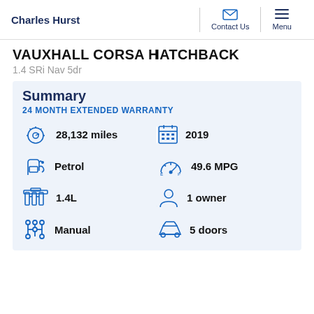Charles Hurst | Contact Us | Menu
VAUXHALL CORSA HATCHBACK
1.4 SRi Nav 5dr
Summary
24 MONTH EXTENDED WARRANTY
28,132 miles
2019
Petrol
49.6 MPG
1.4L
1 owner
Manual
5 doors